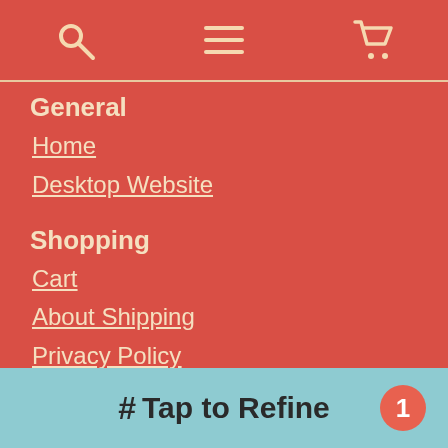Search | Menu | Cart icons
General
Home
Desktop Website
Shopping
Cart
About Shipping
Privacy Policy
Returning & Refunding
Find Items
Anime List
Search
Ranking
# Tap to Refine  1